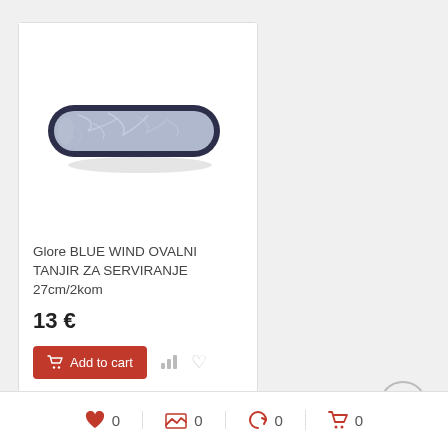[Figure (photo): Oval serving plate/tray with dark navy blue rim and light blue-grey marbled interior, viewed from a slight angle]
Glore BLUE WIND OVALNI TANJIR ZA SERVIRANJE 27cm/2kom
13 €
Add to cart
♥ 0   0   0   0